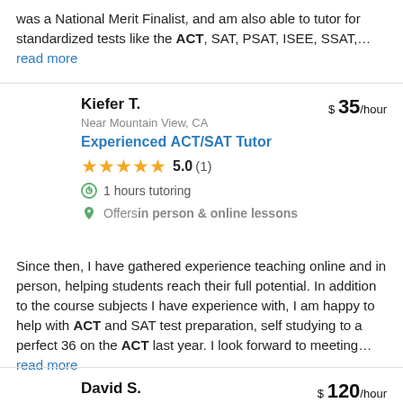was a National Merit Finalist, and am also able to tutor for standardized tests like the ACT, SAT, PSAT, ISEE, SSAT,… read more
Kiefer T.
$ 35/hour
Near Mountain View, CA
Experienced ACT/SAT Tutor
5.0 (1)
1 hours tutoring
Offers in person & online lessons
Since then, I have gathered experience teaching online and in person, helping students reach their full potential. In addition to the course subjects I have experience with, I am happy to help with ACT and SAT test preparation, self studying to a perfect 36 on the ACT last year. I look forward to meeting… read more
David S.
$ 120/hour